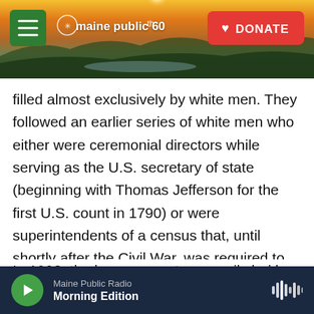[Figure (screenshot): Maine Public 60th anniversary website header with landscape photo showing sunset over hills and water, green hamburger menu button, Maine Public 60 logo, and red DONATE button]
filled almost exclusively by white men. They followed an earlier series of white men who either were ceremonial directors while serving as the U.S. secretary of state (beginning with Thomas Jefferson for the first U.S. count in 1790) or were superintendents of a census that, until shortly after the Civil War, was required to count an enslaved person as "three fifths" of a free person and that, until 1940, excluded "Indians not taxed" from the numbers used to reallocate congressional seats and Electoral College votes.
In 1998, the bureau was temporarily led by an
Maine Public Radio  Morning Edition